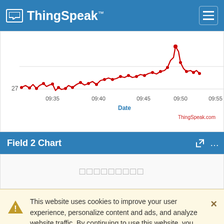ThingSpeak™
[Figure (continuous-plot): Line chart showing a rising red line data series over time from approximately 09:30 to 09:57, with y-axis value around 27 at baseline. The line trends upward with a spike near 09:48. X-axis shows Date with time labels 09:35, 09:40, 09:45, 09:50, 09:55. ThingSpeak.com watermark in red at bottom right.]
Field 2 Chart
□□□□□□□□□
This website uses cookies to improve your user experience, personalize content and ads, and analyze website traffic. By continuing to use this website, you consent to our use of cookies. Please see our Privacy Policy to learn more about cookies and how to change your settings.